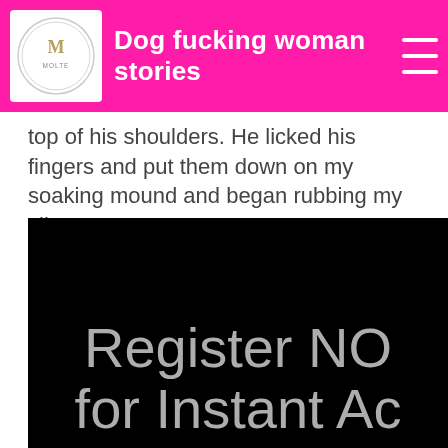Dog fucking woman stories
top of his shoulders. He licked his fingers and put them down on my soaking mound and began rubbing my clit.
[Figure (screenshot): Dark black banner with large light gray text reading 'Register NO' on first line and 'for Instant Ac' on second line, partially cropped on the right side.]